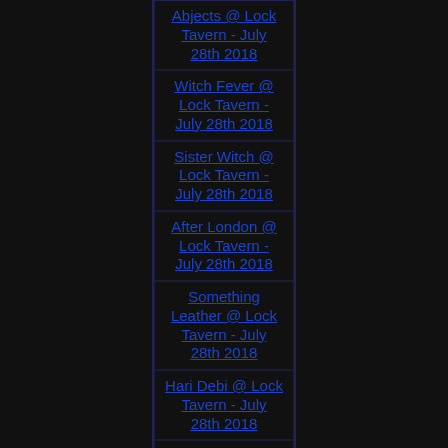Abjects @ Lock Tavern - July 28th 2018
Witch Fever @ Lock Tavern - July 28th 2018
Sister Witch @ Lock Tavern - July 28th 2018
After London @ Lock Tavern - July 28th 2018
Something Leather @ Lock Tavern - July 28th 2018
Hari Debi @ Lock Tavern - July 28th 2018
Frances-Frances @ Paper Dress - July 27th 2018
The Anderson Tapes @ Paper Dress - July 27th 2018
Queen Kwong @ Rough Trade East - July 27th 2018
Juniore @ Sebright Arms - July 25th 2018
Calva Louise @ Camden Assembly - July 22nd 2018
Berries @ Camden Assembly - July 22nd 2018